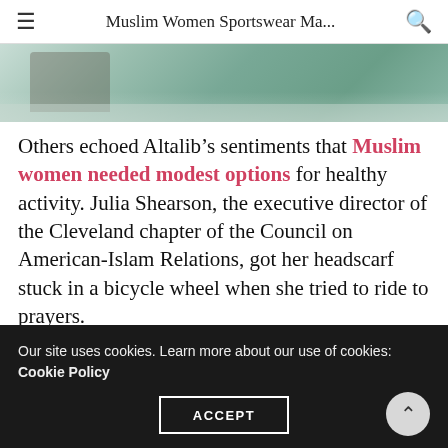Muslim Women Sportswear Ma...
[Figure (photo): Partial photo of a person running or cycling outdoors, showing legs and a path with greenery in the background.]
Others echoed Altalib’s sentiments that Muslim women needed modest options for healthy activity. Julia Shearson, the executive director of the Cleveland chapter of the Council on American-Islam Relations, got her headscarf stuck in a bicycle wheel when she tried to ride to prayers.
“It’s already hard enough to exercise,” Shearson told the New York Times in 2009. “And if you look different...
Our site uses cookies. Learn more about our use of cookies: Cookie Policy
ACCEPT